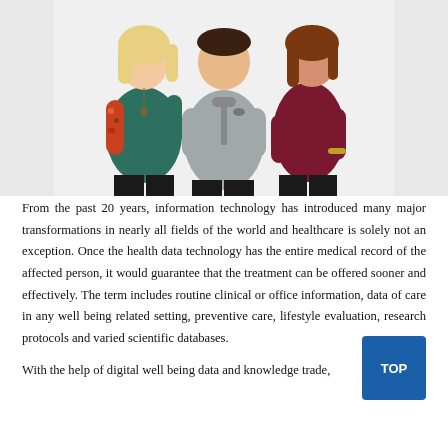[Figure (photo): Three people standing together against a white background: a woman on the left wearing a dark teal top with floral-patterned sleeves and black pants, a man in the center wearing a grey half-zip pullover and black pants, and a woman on the right wearing a dark maroon long-sleeve top and black pants.]
From the past 20 years, information technology has introduced many major transformations in nearly all fields of the world and healthcare is solely not an exception. Once the health data technology has the entire medical record of the affected person, it would guarantee that the treatment can be offered sooner and effectively. The term includes routine clinical or office information, data of care in any well being related setting, preventive care, lifestyle evaluation, research protocols and varied scientific databases.
With the help of digital well being data and knowledge trade,